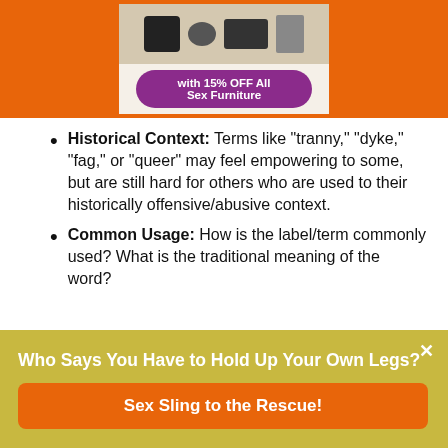[Figure (photo): Orange advertisement banner with purple pill-shaped badge reading 'with 15% OFF All Sex Furniture' over product image background]
Historical Context: Terms like "tranny," "dyke," "fag," or "queer" may feel empowering to some, but are still hard for others who are used to their historically offensive/abusive context.
Common Usage: How is the label/term commonly used? What is the traditional meaning of the word?
Who Says You Have to Hold Up Your Own Legs?
Sex Sling to the Rescue!